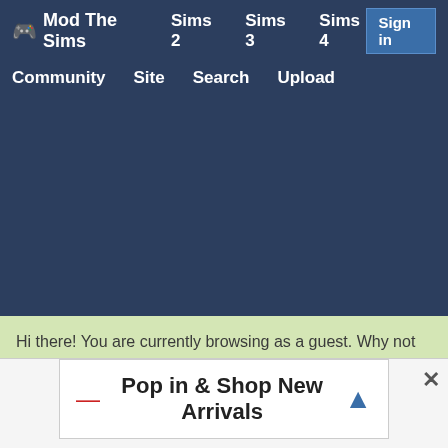🎮 Mod The Sims   Sims 2   Sims 3   Sims 4   Sign in   Community   Site   Search   Upload
[Figure (screenshot): Dark navy blue main content area background]
Hi there! You are currently browsing as a guest. Why not create an account? Then you can thank creators, post feedback, keep a list of your favourites, and more!
[Figure (screenshot): Advertisement overlay with close button showing 'Pop in & Shop New Arrivals']